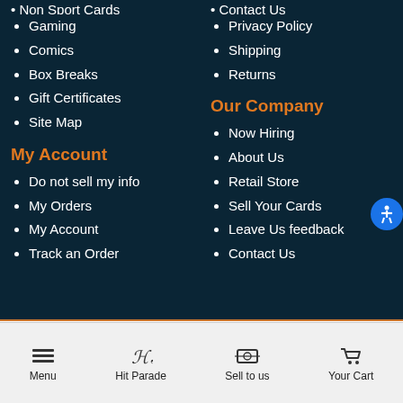Non Sport Cards (partial, cut off at top)
Gaming
Comics
Box Breaks
Gift Certificates
Site Map
Contact Us (partial, cut off at top)
Privacy Policy
Shipping
Returns
My Account
Do not sell my info
My Orders
My Account
Track an Order
Our Company
Now Hiring
About Us
Retail Store
Sell Your Cards
Leave Us feedback
Contact Us
[Figure (logo): Bizrate Customer Certified badge and Bizrate Circle of Excellence badge]
Menu | Hit Parade | Sell to us | Your Cart